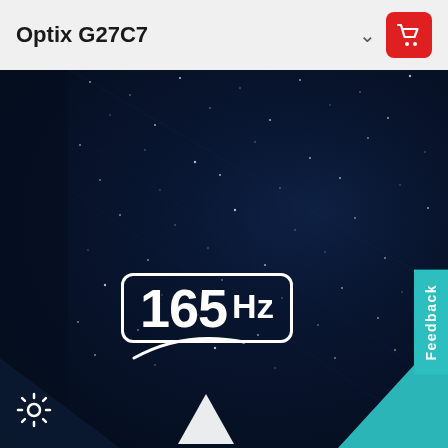Optix G27C7
[Figure (screenshot): Dark blue starfield background image for gaming monitor product page, featuring '165 Hz' badge logo with white rounded rectangle border, a gear/settings icon in the bottom-left corner, a teal 'Feedback' tab on the right side, and a partial white arrow pointing upward at the bottom center.]